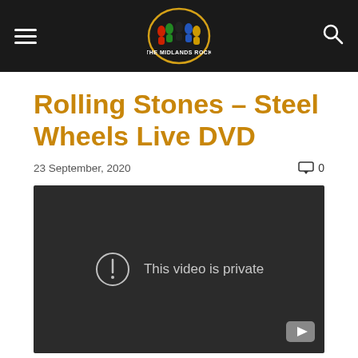The Midlands Rock — navigation bar with logo
Rolling Stones – Steel Wheels Live DVD
23 September, 2020
0 comments
[Figure (screenshot): Embedded video player showing 'This video is private' message with a YouTube icon in the bottom right corner, on a dark background.]